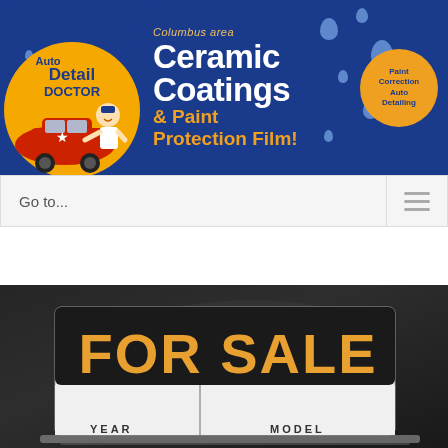[Figure (logo): Auto Detail Doctor logo with cartoon mechanic leaning on a red car, circular orange and yellow background, blue text saying Auto Detail Doctor]
[Figure (illustration): Columbus area Ceramic Coatings & Paint Protection Film banner advertisement on blue background with water droplets. Paint Correction Auto Detailing badge in gold circle on right.]
Go to...
[Figure (photo): Close-up photo of a FOR SALE car sign with YEAR and MODEL fields, resting against a dark car window]